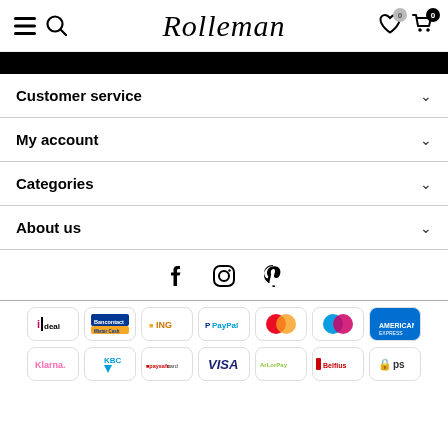Rolleman — navigation header with hamburger menu, search, wishlist (0), cart (0)
Customer service
My account
Categories
About us
[Figure (other): Social media icons: Facebook, Instagram, Pinterest]
[Figure (other): Payment method logos: iDeal, Bancontact/Mister Cash, ING, PayPal, Mastercard, Maestro, American Express, Klarna, KBC, Paysafecard, VISA, ApplePay, Belfius, ps (Bpost)]